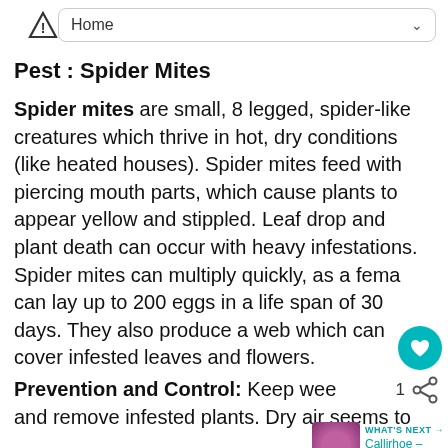Home
Pest : Spider Mites
Spider mites are small, 8 legged, spider-like creatures which thrive in hot, dry conditions (like heated houses). Spider mites feed with piercing mouth parts, which cause plants to appear yellow and stippled. Leaf drop and plant death can occur with heavy infestations. Spider mites can multiply quickly, as a female can lay up to 200 eggs in a life span of 30 days. They also produce a web which can cover infested leaves and flowers.
Prevention and Control: Keep weeds and remove infested plants. Dry air seems to